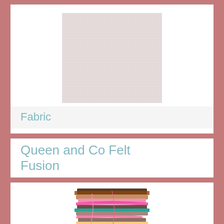[Figure (photo): A square swatch of light pink/cream woven fabric with a visible grid-like texture]
Fabric
Queen and Co Felt Fusion
[Figure (photo): A stack of colorful mixed felt and fabric strips in brown, pink, teal, and multicolor tones with fuzzy textures]